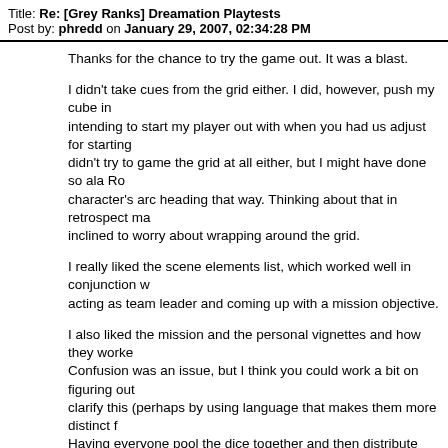Title: Re: [Grey Ranks] Dreamation Playtests
Post by: phredd on January 29, 2007, 02:34:28 PM
Thanks for the chance to try the game out.  It was a blast.
I didn't take cues from the grid either.  I did, however, push my cube in the direction I was intending to start my player out with when you had us adjust for starting position.  I didn't try to game the grid at all either, but I might have done so ala Rob's player had my character's arc heading that way.  Thinking about that in retrospect makes me less inclined to worry about wrapping around the grid.
I really liked the scene elements list, which worked well in conjunction with acting as team leader and coming up with a mission objective.
I also liked the mission and the personal vignettes and how they worked. Confusion was an issue, but I think you could work a bit on figuring out how to clarify this (perhaps by using language that makes them more distinct from each other). Having everyone pool the dice together and then distribute them again didn't seem to have much effect on the game to me.  Personally, I was happy as a clam when a good die fell my way.  That also combined with the Age related modifiers to make things murky at the start of a scene.
One thought that just occurred to me about the mission of a scene is that you can't have all that much impact on the outcome of it with your current setup.  Short of deliberately giving a lousy die to the mission pool, there's not much that you can do.  I think this is fine, provided all the players/characters want a mission to succeed.  What do you think about allowing players to contribute a poison die or the like, with some heavy price to be paid for the privilege?  Just a thought.
I like the idea of a more objective version of Radio Lightning.  That cou